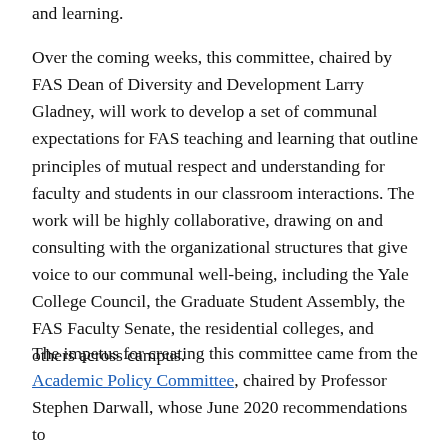and learning.
Over the coming weeks, this committee, chaired by FAS Dean of Diversity and Development Larry Gladney, will work to develop a set of communal expectations for FAS teaching and learning that outline principles of mutual respect and understanding for faculty and students in our classroom interactions. The work will be highly collaborative, drawing on and consulting with the organizational structures that give voice to our communal well-being, including the Yale College Council, the Graduate Student Assembly, the FAS Faculty Senate, the residential colleges, and others across campus.
The impetus for creating this committee came from the Academic Policy Committee, chaired by Professor Stephen Darwall, whose June 2020 recommendations to